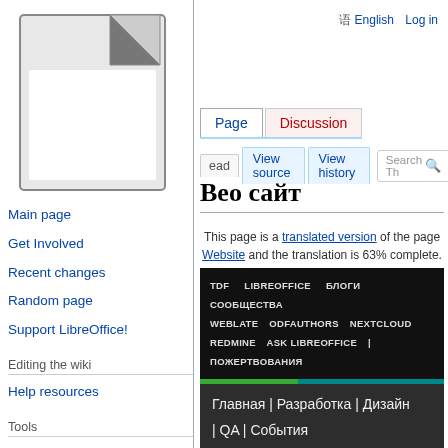English  Log in
[Figure (logo): LibreOffice document icon - grey folded page corner logo on white background]
Main page
Get Involved
Recent changes
Random page
Support LibreOffice!
Editing the wiki
Help resources
Tools
What links here
Related changes
Special pages
Printable version
Вео сайт
This page is a translated version of the page Website and the translation is 63% complete.
[Figure (screenshot): LibreOffice community website navigation box with dark background. Top section (black) shows links: TDF, LIBREOFFICE, БЛОГИ СООБЩЕСТВА, WEBLATE, ODFAUTHORS, NEXTCLOUD, REDMINE, ASK LIBREOFFICE, |, ПОЖЕРТВОВАНИЯ. A green-teal stripe divides sections. Bottom section (dark grey) shows: Главная | Разработка | Дизайн | QA | События | Документация | Сайт | Локализация | Маркетинг | Расширения | Macros | Wiki справка]